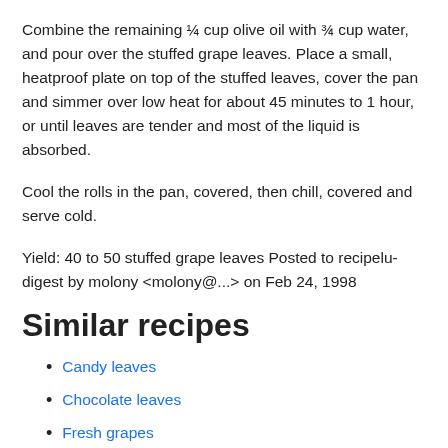Combine the remaining ¼ cup olive oil with ¾ cup water, and pour over the stuffed grape leaves. Place a small, heatproof plate on top of the stuffed leaves, cover the pan and simmer over low heat for about 45 minutes to 1 hour, or until leaves are tender and most of the liquid is absorbed.
Cool the rolls in the pan, covered, then chill, covered and serve cold.
Yield: 40 to 50 stuffed grape leaves Posted to recipelu-digest by molony <molony@...> on Feb 24, 1998
Similar recipes
Candy leaves
Chocolate leaves
Fresh grapes
Grapes